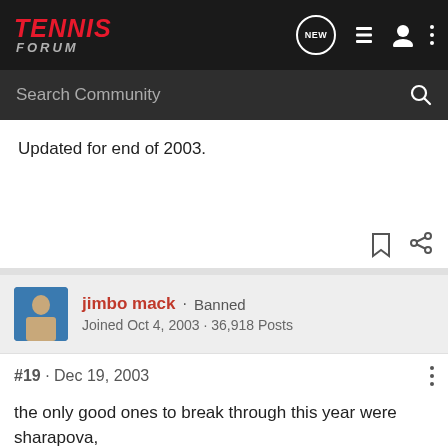TENNIS FORUM — Navigation bar with NEW, list, user, and more icons, and Search Community search bar
Updated for end of 2003.
jimbo mack · Banned
Joined Oct 4, 2003 · 36,918 Posts
#19 · Dec 19, 2003
the only good ones to break through this year were sharapova,